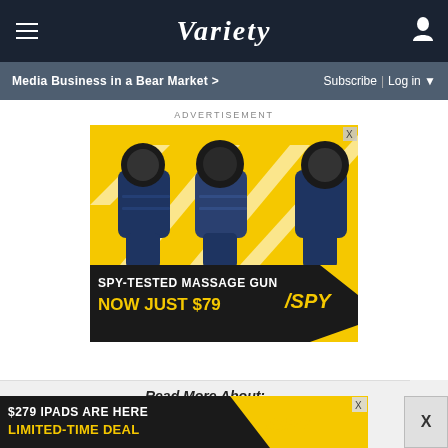VARIETY
Media Business in a Bear Market >
Subscribe | Log in ▼
ADVERTISEMENT
[Figure (photo): Advertisement for SPY massage gun product showing blue massage guns on yellow background. Text reads: SPY-TESTED MASSAGE GUN NOW JUST $79 / SPY]
Read More About:
[Figure (photo): Bottom sticky advertisement: $279 IPADS ARE HERE / LIMITED-TIME DEAL / SPY logo]